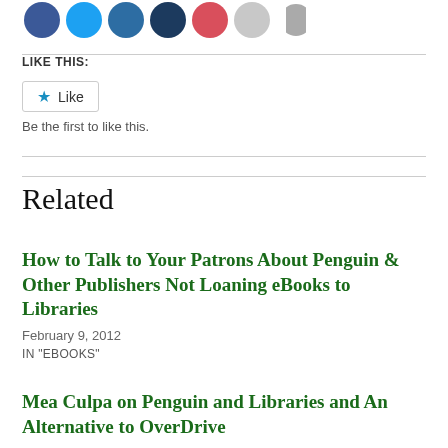[Figure (other): Row of social sharing icon circles: blue, light blue, dark blue, dark navy, red/pink, light gray, gray]
LIKE THIS:
[Figure (other): Like button with blue star icon and 'Like' text, bordered rectangle button]
Be the first to like this.
Related
How to Talk to Your Patrons About Penguin & Other Publishers Not Loaning eBooks to Libraries
February 9, 2012
IN "EBOOKS"
Mea Culpa on Penguin and Libraries and An Alternative to OverDrive